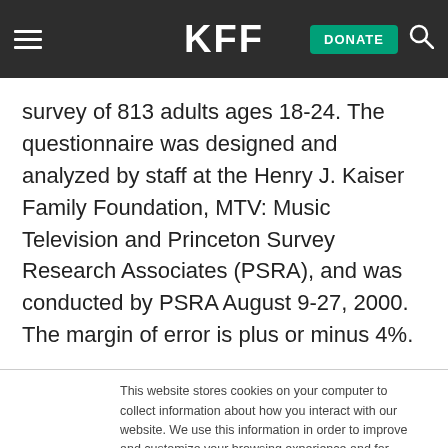KFF | DONATE
survey of 813 adults ages 18-24. The questionnaire was designed and analyzed by staff at the Henry J. Kaiser Family Foundation, MTV: Music Television and Princeton Survey Research Associates (PSRA), and was conducted by PSRA August 9-27, 2000. The margin of error is plus or minus 4%.
This website stores cookies on your computer to collect information about how you interact with our website. We use this information in order to improve and customize your browsing experience and for analytics and metrics about our visitors both on this website and other media. To find out more about the cookies we use, see our Privacy Policy.